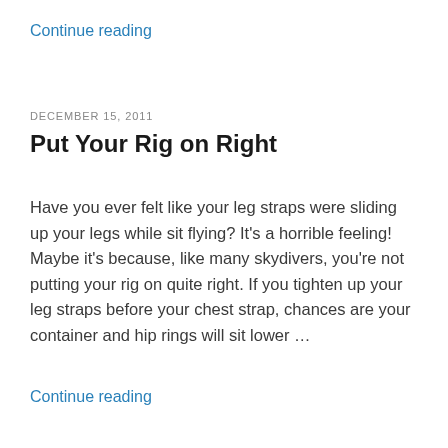Continue reading
DECEMBER 15, 2011
Put Your Rig on Right
Have you ever felt like your leg straps were sliding up your legs while sit flying? It's a horrible feeling! Maybe it's because, like many skydivers, you're not putting your rig on quite right. If you tighten up your leg straps before your chest strap, chances are your container and hip rings will sit lower …
Continue reading